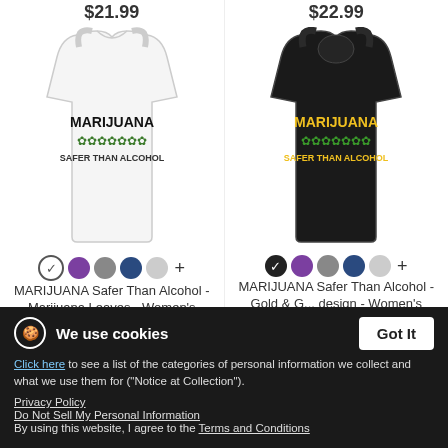$21.99
$22.99
[Figure (photo): White women's premium tank top with 'MARIJUANA - green leaf icons - SAFER THAN ALCOHOL' design]
[Figure (photo): Black women's premium tank top with 'MARIJUANA (gold) - green leaf icons - SAFER THAN ALCOHOL (yellow/gold)' design]
MARIJUANA Safer Than Alcohol - Marijuana Leaves - Women's Premium Tank Top
MARIJUANA Safer Than Alcohol - Gold & G... design - Women's Premium Tank Top
$22.99
$22.99
We use cookies
Click here to see a list of the categories of personal information we collect and what we use them for ("Notice at Collection").
Privacy Policy
Do Not Sell My Personal Information
By using this website, I agree to the Terms and Conditions